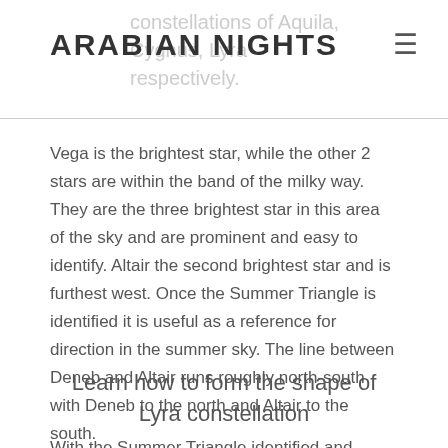ARABIAN NIGHTS
Vega is the brightest star, while the other 2 stars are within the band of the milky way. They are the three brightest star in this area of the sky and are prominent and easy to identify. Altair the second brightest star and is furthest west. Once the Summer Triangle is identified it is useful as a reference for direction in the summer sky. The line between Deneb and Altair runs roughly north-south with Deneb to the north and Altair to the south.
Learn how to form the shape of Lyra constellation
With the Summer Triangle identified and